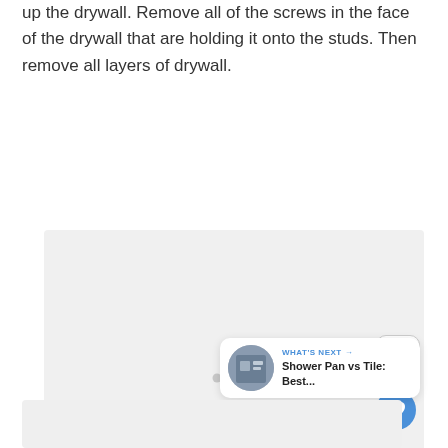up the drywall. Remove all of the screws in the face of the drywall that are holding it onto the studs. Then remove all layers of drywall.
[Figure (photo): Large light gray image placeholder area with three small gray dots centered, indicating an image loading state. UI overlays include a menu button (list icon), a blue heart/like button, a count of 6, a share button, and a 'What's Next' card showing 'Shower Pan vs Tile: Best...' with a thumbnail.]